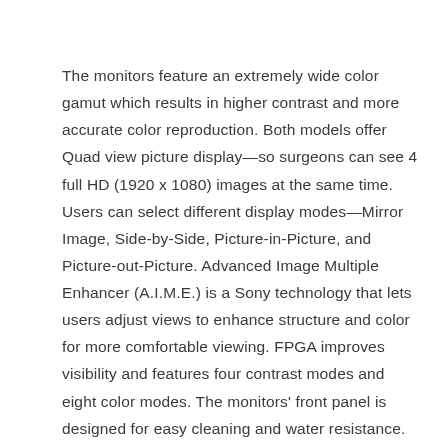The monitors feature an extremely wide color gamut which results in higher contrast and more accurate color reproduction. Both models offer Quad view picture display—so surgeons can see 4 full HD (1920 x 1080) images at the same time. Users can select different display modes—Mirror Image, Side-by-Side, Picture-in-Picture, and Picture-out-Picture. Advanced Image Multiple Enhancer (A.I.M.E.) is a Sony technology that lets users adjust views to enhance structure and color for more comfortable viewing. FPGA improves visibility and features four contrast modes and eight color modes. The monitors' front panel is designed for easy cleaning and water resistance.